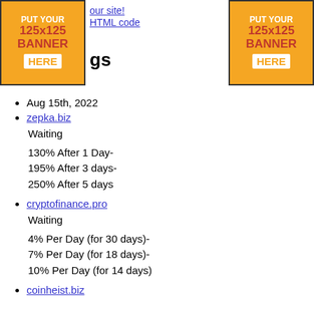[Figure (illustration): Orange banner placeholder: PUT YOUR 125x125 BANNER HERE (left)]
[Figure (illustration): Orange banner placeholder: PUT YOUR 125x125 BANNER HERE (right)]
your site!
HTML code
gs
Aug 15th, 2022
zepka.biz
Waiting
130% After 1 Day-
195% After 3 days-
250% After 5 days
cryptofinance.pro
Waiting
4% Per Day (for 30 days)-
7% Per Day (for 18 days)-
10% Per Day (for 14 days)
coinheist.biz